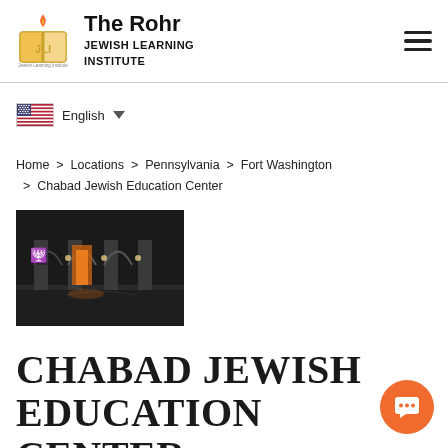The Rohr JEWISH LEARNING INSTITUTE
English
Home  >  Locations  >  Pennsylvania  >  Fort Washington  >  Chabad Jewish Education Center
[Figure (photo): Exterior night photo of a building with illuminated arched entrances, menorah symbol visible on the left pillar]
CHABAD JEWISH EDUCATION CENTER